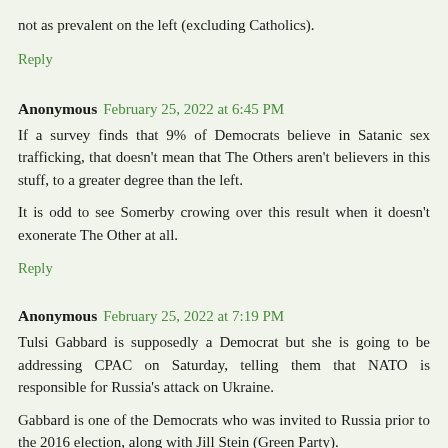not as prevalent on the left (excluding Catholics).
Reply
Anonymous February 25, 2022 at 6:45 PM
If a survey finds that 9% of Democrats believe in Satanic sex trafficking, that doesn't mean that The Others aren't believers in this stuff, to a greater degree than the left.
It is odd to see Somerby crowing over this result when it doesn't exonerate The Other at all.
Reply
Anonymous February 25, 2022 at 7:19 PM
Tulsi Gabbard is supposedly a Democrat but she is going to be addressing CPAC on Saturday, telling them that NATO is responsible for Russia's attack on Ukraine.
Gabbard is one of the Democrats who was invited to Russia prior to the 2016 election, along with Jill Stein (Green Party).